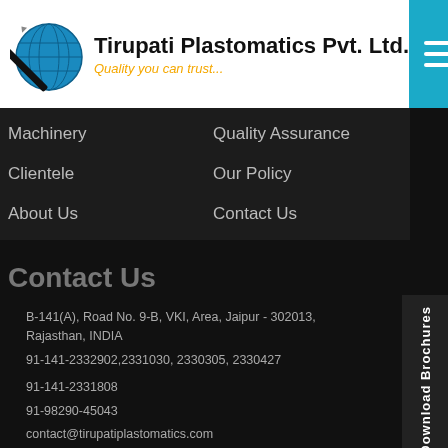[Figure (logo): Tirupati Plastomatics Pvt. Ltd. logo with globe and pencil graphic]
Tirupati Plastomatics Pvt. Ltd. | Quality you can trust...
Machinery
Quality Assurance
Clientele
Our Policy
About Us
Contact Us
Contact Us
B-141(A), Road No. 9-B, VKI, Area, Jaipur - 302013, Rajasthan, INDIA
91-141-2332902,2331030, 2330305, 2330427
91-141-2331808
91-98290-45043
contact@tirupatiplastomatics.com